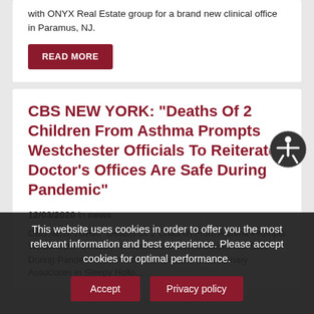with ONYX Real Estate group for a brand new clinical office in Paramus, NJ.
READ MORE
CBS NEW YORK: "Deaths Of 2 Children From Asthma Prompts Westchester Officials To Reiterate Doctor's Offices Are Safe During Pandemic"
12/03/2020 in news
CBS NEW YORK: "Deaths Of 2 Children From Asthma Prompts Westchester Officials To Reiterate Doctor's Offices Are Safe During Pandemic" ... Dr. Mark Davidson for Pulmonary Associates in Sleepy Hollow...
This website uses cookies in order to offer you the most relevant information and best experience. Please accept cookies for optimal performance.
Accept
Privacy policy